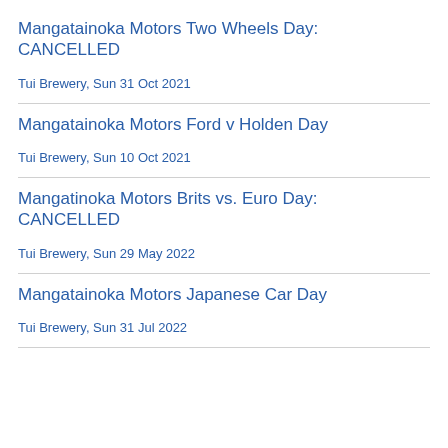Mangatainoka Motors Two Wheels Day: CANCELLED
Tui Brewery, Sun 31 Oct 2021
Mangatainoka Motors Ford v Holden Day
Tui Brewery, Sun 10 Oct 2021
Mangatinoka Motors Brits vs. Euro Day: CANCELLED
Tui Brewery, Sun 29 May 2022
Mangatainoka Motors Japanese Car Day
Tui Brewery, Sun 31 Jul 2022